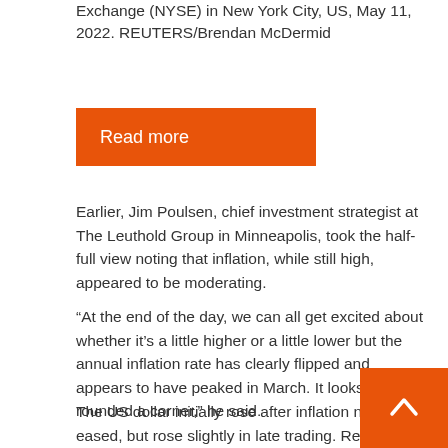Exchange (NYSE) in New York City, US, May 11, 2022. REUTERS/Brendan McDermid
Read more
Earlier, Jim Poulsen, chief investment strategist at The Leuthold Group in Minneapolis, took the half-full view noting that inflation, while still high, appeared to be moderating.
“At the end of the day, we can all get excited about whether it’s a little higher or a little lower but the annual inflation rate has clearly flipped and appears to have peaked in March. It looks like it’s rounded a corner,” he said.
The US dollar initially rose after inflation news eased, but rose slightly in late trading. Read more